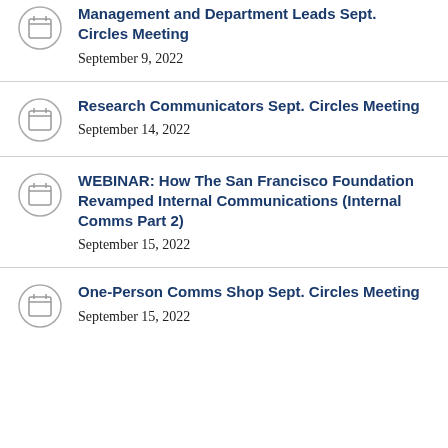Management and Department Leads Sept. Circles Meeting
September 9, 2022
Research Communicators Sept. Circles Meeting
September 14, 2022
WEBINAR: How The San Francisco Foundation Revamped Internal Communications (Internal Comms Part 2)
September 15, 2022
One-Person Comms Shop Sept. Circles Meeting
September 15, 2022